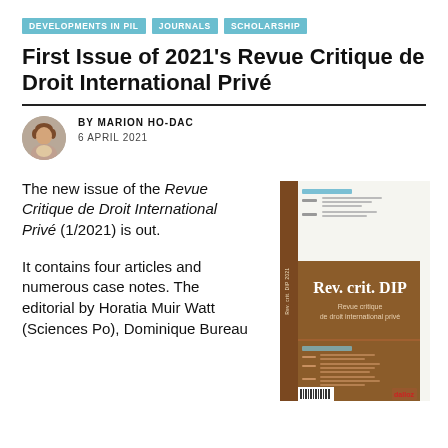DEVELOPMENTS IN PIL   JOURNALS   SCHOLARSHIP
First Issue of 2021’s Revue Critique de Droit International Privé
BY MARION HO-DAC
6 APRIL 2021
The new issue of the Revue Critique de Droit International Privé (1/2021) is out.
It contains four articles and numerous case notes. The editorial by Horatia Muir Watt (Sciences Po), Dominique Bureau
[Figure (photo): Cover of the Revue Critique de Droit International Privé (Rev. crit. DIP) journal, showing the journal spine and front cover with the title in white text on a brown background, and a table of contents page visible on the right side.]